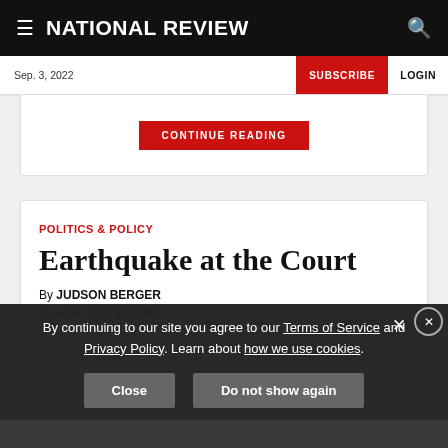NATIONAL REVIEW
Sep. 3, 2022 | SUBSCRIBE | LOGIN
CONTINUE READING
POLITICS & POLICY
Earthquake at the Court
By JUDSON BERGER
June 24, 2022 3:16 PM
By continuing to our site you agree to our Terms of Service and Privacy Policy. Learn about how we use cookies.
Close  Do not show again